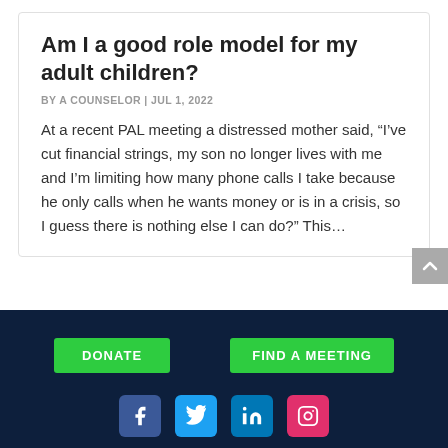Am I a good role model for my adult children?
BY A COUNSELOR | JUL 1, 2022
At a recent PAL meeting a distressed mother said, “I’ve cut financial strings, my son no longer lives with me and I’m limiting how many phone calls I take because he only calls when he wants money or is in a crisis, so I guess there is nothing else I can do?” This…
DONATE
FIND A MEETING
[Figure (infographic): Social media icons: Facebook (blue), Twitter (light blue), LinkedIn (blue), Instagram (pink/red)]